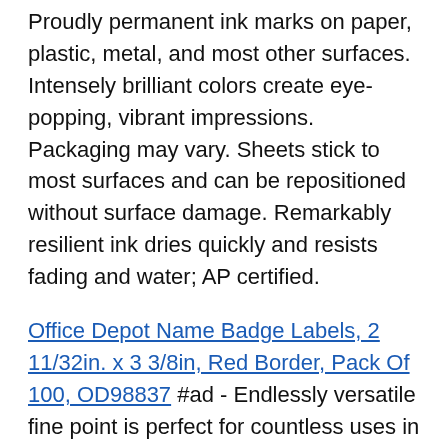Proudly permanent ink marks on paper, plastic, metal, and most other surfaces. Intensely brilliant colors create eye-popping, vibrant impressions. Packaging may vary. Sheets stick to most surfaces and can be repositioned without surface damage. Remarkably resilient ink dries quickly and resists fading and water; AP certified.
Office Depot Name Badge Labels, 2 11/32in. x 3 3/8in, Red Border, Pack Of 100, OD98837 #ad - Endlessly versatile fine point is perfect for countless uses in the classroom, office, home, and beyond. Includes 12 blue Sharpie permanent markers, packaging may vary. Endlessly versatile fine point is perfect for countless uses in the classroom, office, home, and beyond. Colorful options: includes 36 Black Sharpie permanent